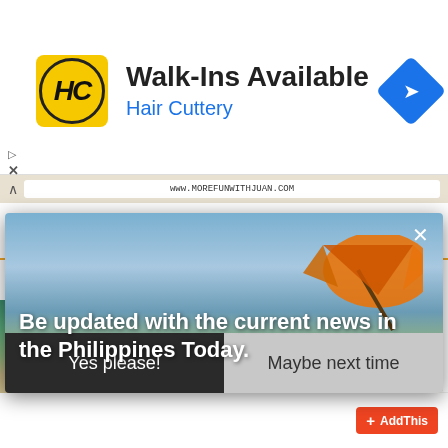[Figure (screenshot): Advertisement banner for Hair Cuttery showing yellow HC logo, 'Walk-Ins Available' headline, 'Hair Cuttery' subtitle in blue, and a blue navigation diamond icon on the right.]
[Figure (screenshot): Screenshot of a webpage showing a Booking.com search bar interface behind a modal popup. The modal shows a beach/ocean scene with clouds and text 'Be updated with the current news in the Philippines Today.' with Yes please! and Maybe next time buttons. An orange beach umbrella is visible. AddThis button appears at bottom right.]